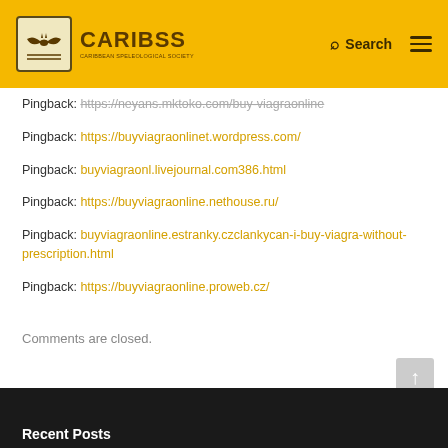[Figure (logo): CARIBSS Caribbean Speleological Society logo with bat silhouette, on yellow header bar with Search and hamburger menu icons]
Pingback: https://neyans.mktoko.com/buy-viagraonline
Pingback: https://buyviagraonlinet.wordpress.com/
Pingback: buyviagraonl.livejournal.com386.html
Pingback: https://buyviagraonline.nethouse.ru/
Pingback: buyviagraonline.estranky.czclankycan-i-buy-viagra-without-prescription.html
Pingback: https://buyviagraonline.proweb.cz/
Comments are closed.
Recent Posts